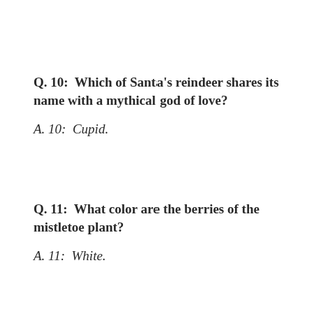Q. 10:  Which of Santa's reindeer shares its name with a mythical god of love?
A. 10:  Cupid.
Q. 11:  What color are the berries of the mistletoe plant?
A. 11:  White.